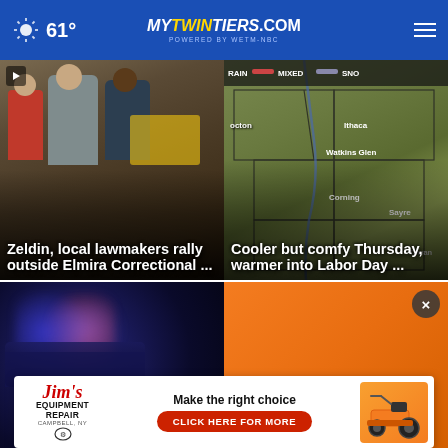mytwintiers.com – 61°
[Figure (photo): News card: Zeldin and local lawmakers standing outside, press conference]
Zeldin, local lawmakers rally outside Elmira Correctional ...
[Figure (map): Weather map showing Twin Tiers region including Ithaca, Watkins Glen, Corning, Sayre with RAIN/MIXED/SNO legend]
Cooler but comfy Thursday, warmer into Labor Day ...
[Figure (photo): Police lights at night, blue and red]
[Figure (photo): Orange background with close (X) button]
[Figure (other): Advertisement: Jim's Equipment Repair – Make the right choice – CLICK HERE FOR MORE – Campbell, NY – with lawn mower image]